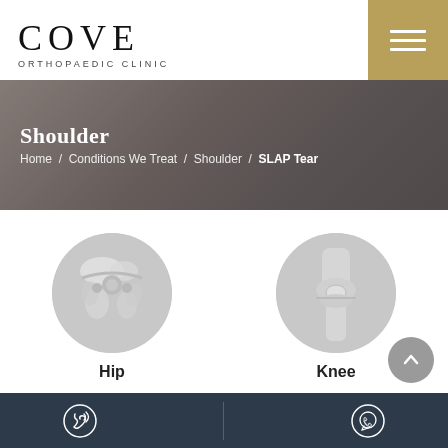COVE ORTHOPAEDIC CLINIC
Shoulder
Home / Conditions We Treat / Shoulder / SLAP Tear
[Figure (illustration): Hip joint illustration icon in a grey circle]
Hip
[Figure (illustration): Knee joint illustration icon in a grey circle]
Knee
Phone icon | WhatsApp icon